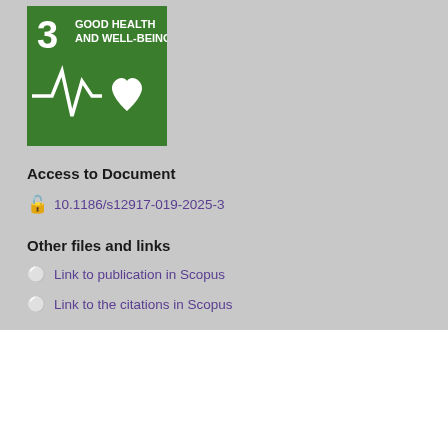[Figure (logo): UN SDG Goal 3 - Good Health and Well-Being logo. Green square with white text '3 GOOD HEALTH AND WELL-BEING' at top, and a white ECG/heartbeat line with a heart icon below.]
Access to Document
10.1186/s12917-019-2025-3
Other files and links
Link to publication in Scopus
Link to the citations in Scopus
We use cookies to analyse and improve our service. Cookie Policy